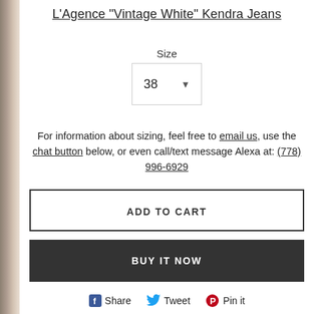L'Agence "Vintage White" Kendra Jeans
Size
38
For information about sizing, feel free to email us, use the chat button below, or even call/text message Alexa at: (778) 996-6929
ADD TO CART
BUY IT NOW
Share   Tweet   Pin it